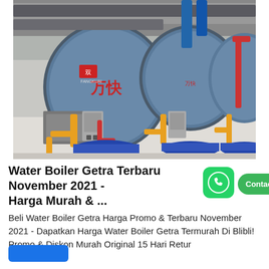[Figure (photo): Industrial water boilers in a facility — multiple large cylindrical blue boilers with Chinese branding, yellow gas pipes, blue base supports, and control panels]
Water Boiler Getra Terbaru November 2021 - Harga Murah & ...
[Figure (logo): WhatsApp icon with green rounded square background and white phone handset]
Contact us now!
Beli Water Boiler Getra Harga Promo & Terbaru November 2021 - Dapatkan Harga Water Boiler Getra Termurah Di Blibli! Promo & Diskon Murah Original 15 Hari Retur